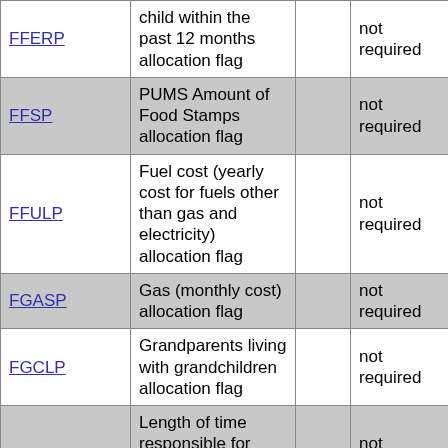| Variable | Description |  | Requirement |  |
| --- | --- | --- | --- | --- |
| FFERP | child within the past 12 months allocation flag |  | not required |  |
| FFSP | PUMS Amount of Food Stamps allocation flag |  | not required |  |
| FFULP | Fuel cost (yearly cost for fuels other than gas and electricity) allocation flag |  | not required |  |
| FGASP | Gas (monthly cost) allocation flag |  | not required |  |
| FGCLP | Grandparents living with grandchildren allocation flag |  | not required |  |
| FGCMP | Length of time responsible for grandchildren allocation flag |  | not required |  |
|  | Grandparents |  |  |  |